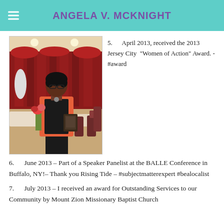ANGELA V. MCKNIGHT
[Figure (photo): Woman in black top with orange/red scarf holding flowers and a plaque at an event banquet hall with red drapery in background]
5.     April 2013, received the 2013 Jersey City  "Women of Action" Award. - #award
6.     June 2013 – Part of a Speaker Panelist at the BALLE Conference in Buffalo, NY!– Thank you Rising Tide – #subjectmatterexpert #bealocalist
7.     July 2013 – I received an award for Outstanding Services to our Community by Mount Zion Missionary Baptist Church